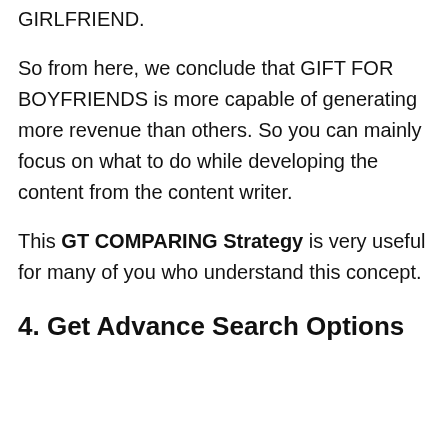GIRLFRIEND.
So from here, we conclude that GIFT FOR BOYFRIENDS is more capable of generating more revenue than others. So you can mainly focus on what to do while developing the content from the content writer.
This GT COMPARING Strategy is very useful for many of you who understand this concept.
4. Get Advance Search Options